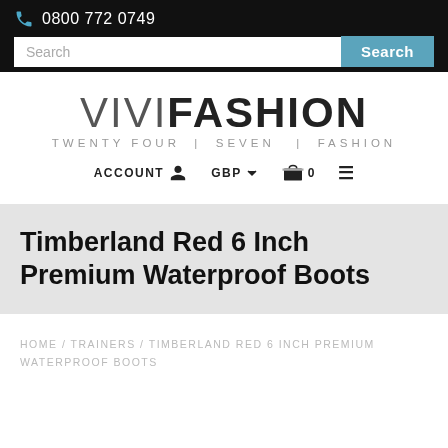📞 0800 772 0749
[Figure (logo): VIVIFASHION logo with tagline TWENTY FOUR | SEVEN | FASHION]
ACCOUNT  GBP  0  ≡
Timberland Red 6 Inch Premium Waterproof Boots
HOME / TRAINERS / TIMBERLAND RED 6 INCH PREMIUM WATERPROOF BOOTS